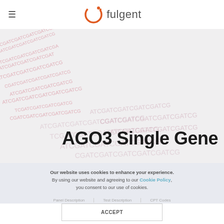Fulgent (logo/navigation header)
[Figure (illustration): Hero banner with repeating DNA sequence text (ATCGATCGATCG...) in pink/red colors forming a wave/brush stroke pattern on a light grey background, with 'AGO3 Single Gene' title overlaid in large bold dark text]
Our website uses cookies to enhance your experience. By using our website and agreeing to our Cookie Policy, you consent to our use of cookies.
Panel Description   Test Description   CPT Codes
ACCEPT